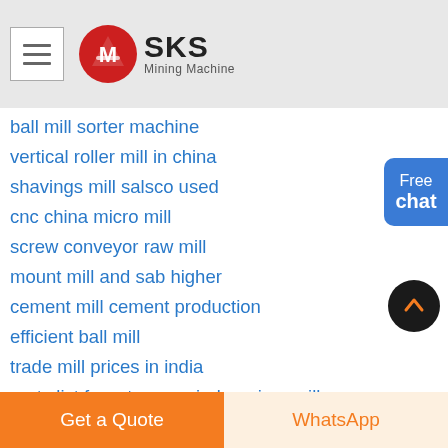[Figure (logo): SKS Mining Machine logo with red circular emblem and text]
ball mill sorter machine
vertical roller mill in china
shavings mill salsco used
cnc china micro mill
screw conveyor raw mill
mount mill and sab higher
cement mill cement production
efficient ball mill
trade mill prices in india
parts list for artsway grinder mixer mill
china mining equipment calssifier cement mill
ball mill prices and for sale aruba
Free chat
Get a Quote
WhatsApp